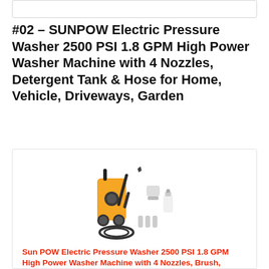#02 – SUNPOW Electric Pressure Washer 2500 PSI 1.8 GPM High Power Washer Machine with 4 Nozzles, Detergent Tank & Hose for Home, Vehicle, Driveways, Garden
[Figure (photo): Photo of the SUNPOW Electric Pressure Washer 2500 PSI product — an orange pressure washer machine with attachments including nozzles, brush, hose, and detergent tank laid out beside it.]
Sun POW Electric Pressure Washer 2500 PSI 1.8 GPM High Power Washer Machine with 4 Nozzles, Brush, Detergent Tank & Hose for Cleaning Home, Vehicle, Drive...